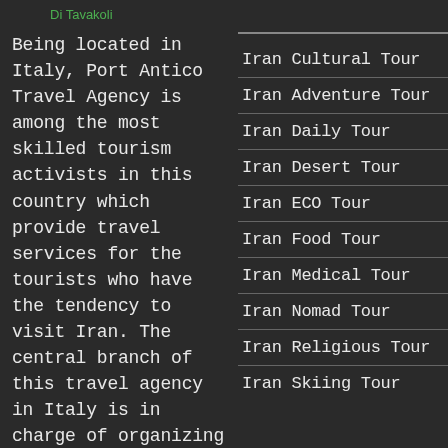Di Tavakoli
Being located in Italy, Port Antico Travel Agency is among the most skilled tourism activists in this country which provide travel services for the tourists who have the tendency to visit Iran. The central branch of this travel agency in Italy is in charge of organizing tours to Iran and due to its experience and expertise has attracted the attention of avid travelers. The wide range of high quality travel services in
Iran Cultural Tour
Iran Adventure Tour
Iran Daily Tour
Iran Desert Tour
Iran ECO Tour
Iran Food Tour
Iran Medical Tour
Iran Nomad Tour
Iran Religious Tour
Iran Skiing Tour